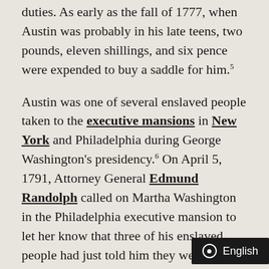duties. As early as the fall of 1777, when Austin was probably in his late teens, two pounds, eleven shillings, and six pence were expended to buy a saddle for him.⁵
Austin was one of several enslaved people taken to the executive mansions in New York and Philadelphia during George Washington's presidency.⁶ On April 5, 1791, Attorney General Edmund Randolph called on Martha Washington in the Philadelphia executive mansion to let her know that three of his enslaved people had just told him they were going to utilize a Pennsylvania law that allowed them to claim their freedom after six months of residence in that state.⁷ W about this development, George Wa